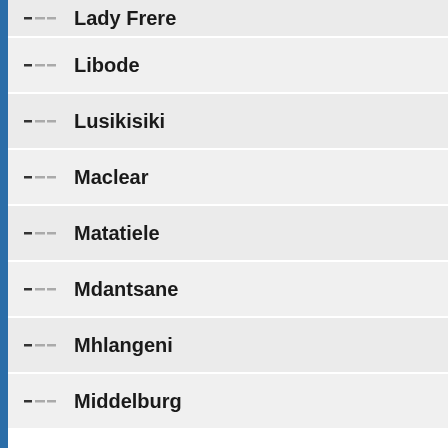Lady Frere
Libode
Lusikisiki
Maclear
Matatiele
Mdantsane
Mhlangeni
Middelburg